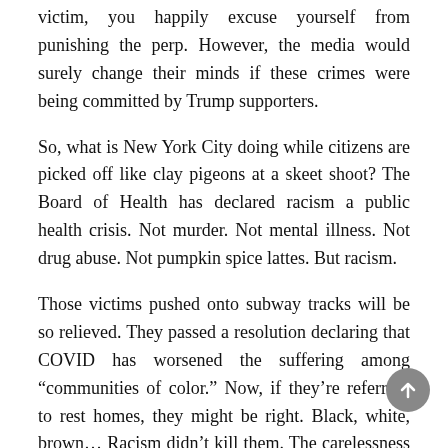victim, you happily excuse yourself from punishing the perp. However, the media would surely change their minds if these crimes were being committed by Trump supporters.
So, what is New York City doing while citizens are picked off like clay pigeons at a skeet shoot? The Board of Health has declared racism a public health crisis. Not murder. Not mental illness. Not drug abuse. Not pumpkin spice lattes. But racism.
Those victims pushed onto subway tracks will be so relieved. They passed a resolution declaring that COVID has worsened the suffering among “communities of color.” Now, if they’re referring to rest homes, they might be right. Black, white, brown… Racism didn’t kill them. The carelessness and stupidity of our politicians did.
One state senator, Brad Hoylman, said we need an “urgent call to action we can no longer ignore as a government or society.” Yes, because we’ve been ignoring racism. Sorry, where’s this idiot been? The only place where racism isn’t